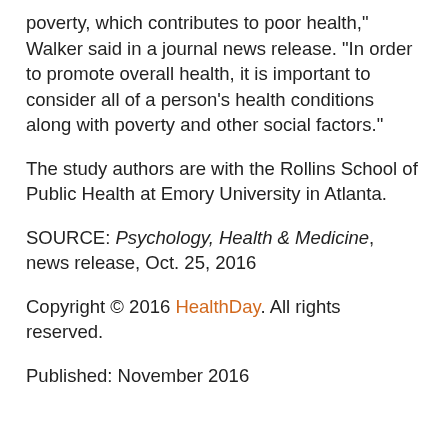poverty, which contributes to poor health," Walker said in a journal news release. "In order to promote overall health, it is important to consider all of a person's health conditions along with poverty and other social factors."
The study authors are with the Rollins School of Public Health at Emory University in Atlanta.
SOURCE: Psychology, Health & Medicine, news release, Oct. 25, 2016
Copyright © 2016 HealthDay. All rights reserved.
Published: November 2016